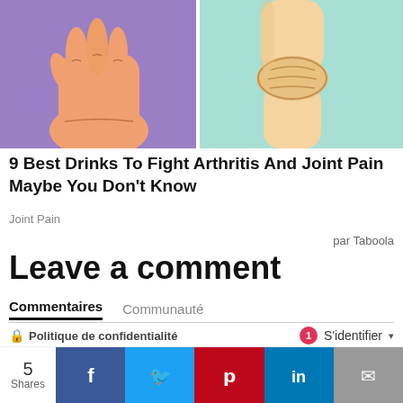[Figure (illustration): Two-panel illustration: left panel shows a hand/wrist on purple background (arthritis), right panel shows a knee joint on teal background.]
9 Best Drinks To Fight Arthritis And Joint Pain Maybe You Don't Know
Joint Pain
par Taboola
Leave a comment
Commentaires   Communauté
🔒 Politique de confidentialité   1   S'identifier ▾
♡ Favorite   Les meilleurs ▾
5 Shares  [Facebook] [Twitter] [Pinterest] [LinkedIn] [Email]